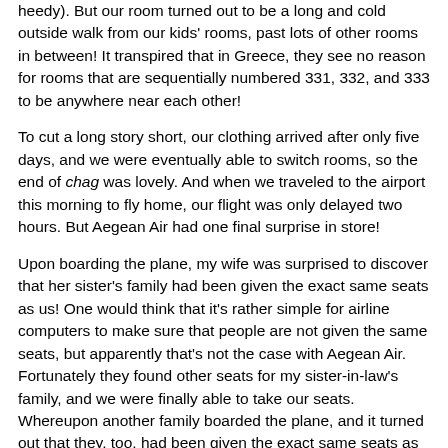heedy). But our room turned out to be a long and cold outside walk from our kids' rooms, past lots of other rooms in between! It transpired that in Greece, they see no reason for rooms that are sequentially numbered 331, 332, and 333 to be anywhere near each other!
To cut a long story short, our clothing arrived after only five days, and we were eventually able to switch rooms, so the end of chag was lovely. And when we traveled to the airport this morning to fly home, our flight was only delayed two hours. But Aegean Air had one final surprise in store!
Upon boarding the plane, my wife was surprised to discover that her sister's family had been given the exact same seats as us! One would think that it's rather simple for airline computers to make sure that people are not given the same seats, but apparently that's not the case with Aegean Air. Fortunately they found other seats for my sister-in-law's family, and we were finally able to take our seats. Whereupon another family boarded the plane, and it turned out that they, too, had been given the exact same seats as us...